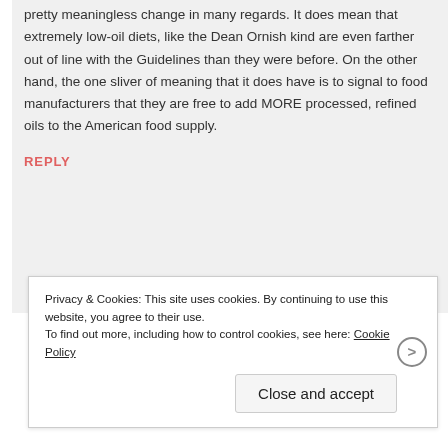pretty meaningless change in many regards. It does mean that extremely low-oil diets, like the Dean Ornish kind are even farther out of line with the Guidelines than they were before. On the other hand, the one sliver of meaning that it does have is to signal to food manufacturers that they are free to add MORE processed, refined oils to the American food supply.
REPLY
Privacy & Cookies: This site uses cookies. By continuing to use this website, you agree to their use.
To find out more, including how to control cookies, see here: Cookie Policy
Close and accept